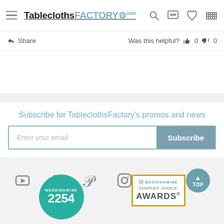TableclothsFactory.com — navigation header with hamburger menu, logo, search, chat, wishlist, and cart icons
Share  |  Was this helpful?  👍 0  👎 0
Subscribe for TableclothsFactory's promos and news
Enter your email | Subscribe
[Figure (screenshot): Social media icons row: YouTube, Facebook, Pinterest, Instagram, Twitter, and a teal TOP button]
[Figure (logo): WeddingWire teal circular badge showing the number 2254]
[Figure (logo): WeddingWire Couples' Choice Awards gold-bordered badge]